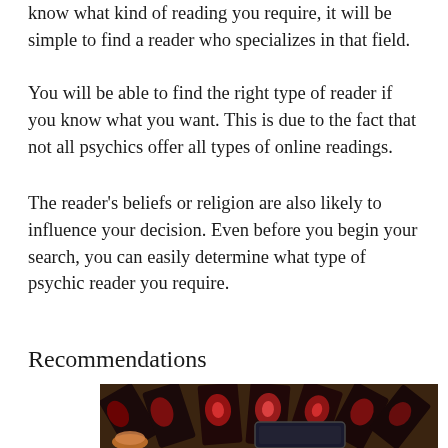know what kind of reading you require, it will be simple to find a reader who specializes in that field.
You will be able to find the right type of reader if you know what you want. This is due to the fact that not all psychics offer all types of online readings.
The reader's beliefs or religion are also likely to influence your decision. Even before you begin your search, you can easily determine what type of psychic reader you require.
Recommendations
[Figure (photo): A spread of tarot cards with red glow patterns fanned out on a wooden table, with a tablet device and a crystal/candle visible in the lower left corner.]